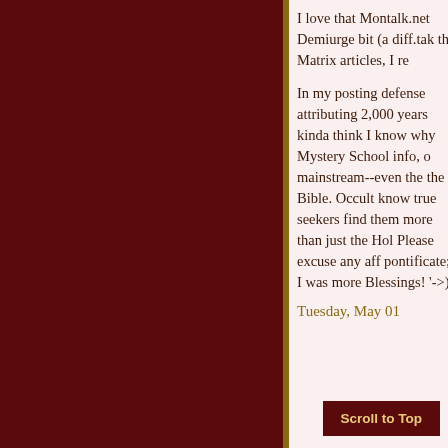I love that Montalk.net Demiurge bit (a diff.tak the Matrix articles, I re In my posting defense attributing 2,000 years kinda think I know why Mystery School info, o mainstream--even the the Bible. Occult know true seekers find them more than just the Hol Please excuse any aff pontificate; I was more Blessings! '->) Tuesday, May 01
Scroll to Top